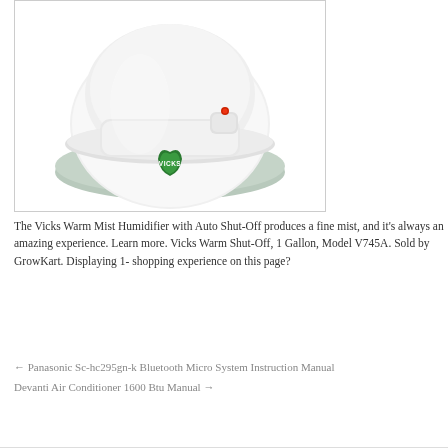[Figure (photo): Vicks Warm Mist Humidifier product photo showing the base of the device with a white body, green Vicks logo badge, small circular button with red indicator light, and a light green/grey circular base.]
The Vicks Warm Mist Humidifier with Auto Shut-Off produces a fine mist, and it's always an amazing experience. Learn more. Vicks Warm Shut-Off, 1 Gallon, Model V745A. Sold by GrowKart. Displaying 1- shopping experience on this page?
← Panasonic Sc-hc295gn-k Bluetooth Micro System Instruction Manual
Devanti Air Conditioner 1600 Btu Manual →